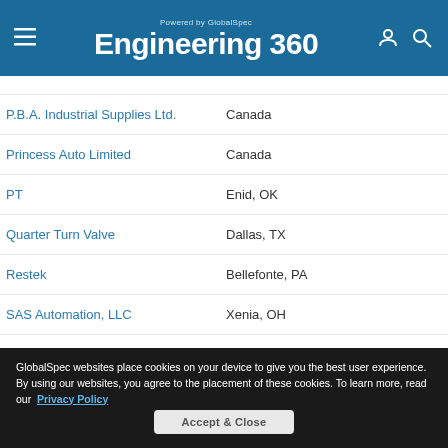Engineering 360 - Powered by GlobalSpec
P.B.A. Industrial Supplies Ltd. — Canada
Princess Auto Limited — Canada
PT — Enid, OK
Quarter Turn Valve — Dallas, TX
Restek — Bellefonte, PA
SAS Automation, LLC — Xenia, OH
Schmalz Inc. — United States
Seal Plastics Inc. — Elk Grove Village, IL
Sharpe Valves — Northlake, IL
GlobalSpec websites place cookies on your device to give you the best user experience. By using our websites, you agree to the placement of these cookies. To learn more, read our Privacy Policy
Accept & Close